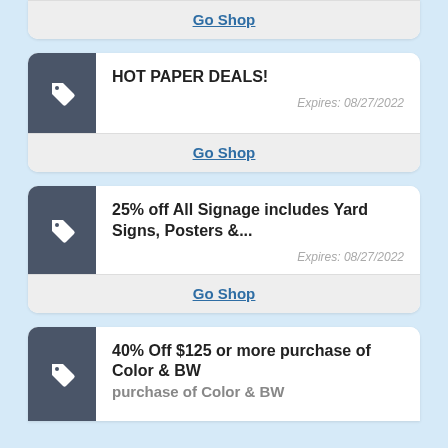Go Shop
HOT PAPER DEALS!
Expires: 08/27/2022
Go Shop
25% off All Signage includes Yard Signs, Posters &...
Expires: 08/27/2022
Go Shop
40% Off $125 or more purchase of Color & BW...